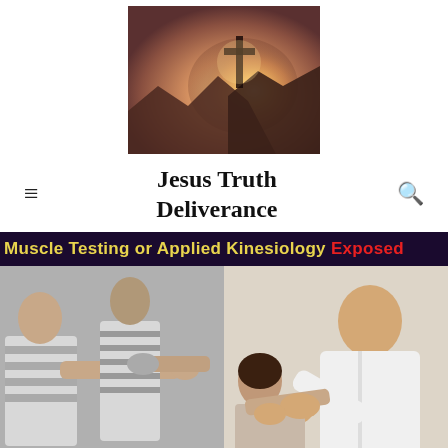[Figure (photo): Cross silhouetted against a bright glowing sunset sky over hills]
Jesus Truth Deliverance
[Figure (photo): Banner image showing two photos of muscle testing / applied kinesiology: a black-and-white image of someone pressing another person's outstretched arm, and a color image of a man in a white shirt pressing on a woman's shoulder]
Muscle Testing or Applied Kinesiology Exposed
Follow ...